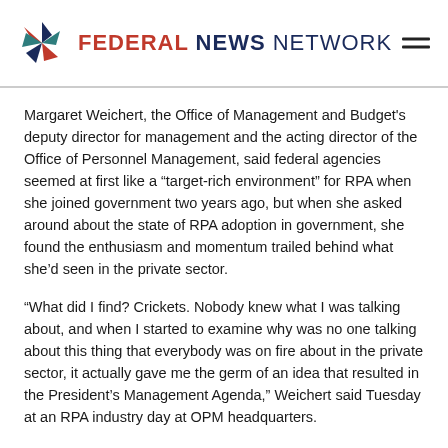FEDERAL NEWS NETWORK
Margaret Weichert, the Office of Management and Budget's deputy director for management and the acting director of the Office of Personnel Management, said federal agencies seemed at first like a “target-rich environment” for RPA when she joined government two years ago, but when she asked around about the state of RPA adoption in government, she found the enthusiasm and momentum trailed behind what she’d seen in the private sector.
“What did I find? Crickets. Nobody knew what I was talking about, and when I started to examine why was no one talking about this thing that everybody was on fire about in the private sector, it actually gave me the germ of an idea that resulted in the President’s Management Agenda,” Weichert said Tuesday at an RPA industry day at OPM headquarters.
Insight by CyberArk: During this exclusive CISO Handbook webinar, moderator Justin Doubl...